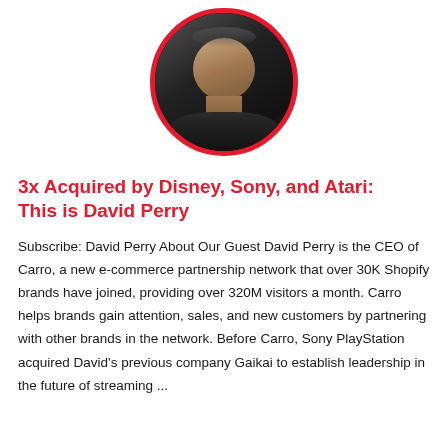[Figure (photo): Black and white circular portrait photo of David Perry, smiling man in dark shirt, with red circular border/frame]
3x Acquired by Disney, Sony, and Atari: This is David Perry
Subscribe: David Perry About Our Guest David Perry is the CEO of Carro, a new e-commerce partnership network that over 30K Shopify brands have joined, providing over 320M visitors a month. Carro helps brands gain attention, sales, and new customers by partnering with other brands in the network. Before Carro, Sony PlayStation acquired David's previous company Gaikai to establish leadership in the future of streaming ...